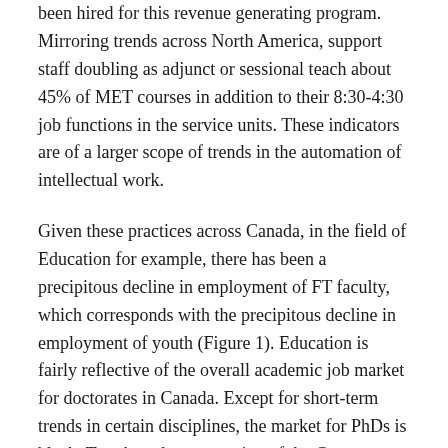been hired for this revenue generating program. Mirroring trends across North America, support staff doubling as adjunct or sessional teach about 45% of MET courses in addition to their 8:30-4:30 job functions in the service units. These indicators are of a larger scope of trends in the automation of intellectual work.
Given these practices across Canada, in the field of Education for example, there has been a precipitous decline in employment of FT faculty, which corresponds with the precipitous decline in employment of youth (Figure 1). Education is fairly reflective of the overall academic job market for doctorates in Canada. Except for short-term trends in certain disciplines, the market for PhDs is bleak. Trends and an expansion of the Great Recession predict that the market will worsen